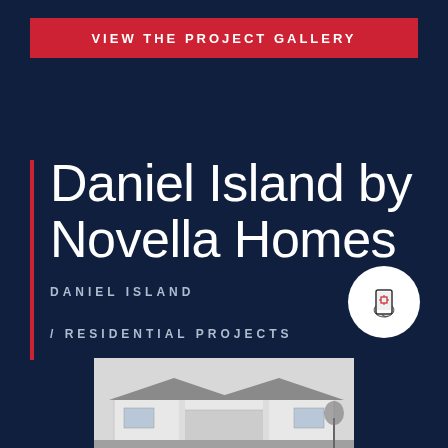VIEW THE PROJECT GALLERY
Daniel Island by Novella Homes
DANIEL ISLAND
/ RESIDENTIAL PROJECTS
[Figure (illustration): White circle icon with a hand holding a smartphone with a red scan/QR target on screen]
[Figure (photo): Partial photo of a residential home exterior, single-story with wide roofline, light exterior, visible at bottom of page]